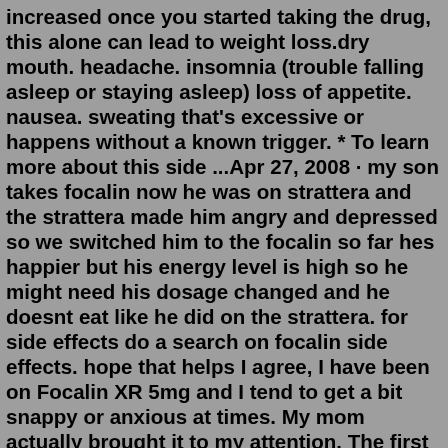increased once you started taking the drug, this alone can lead to weight loss.dry mouth. headache. insomnia (trouble falling asleep or staying asleep) loss of appetite. nausea. sweating that's excessive or happens without a known trigger. * To learn more about this side ...Apr 27, 2008 · my son takes focalin now he was on strattera and the strattera made him angry and depressed so we switched him to the focalin so far hes happier but his energy level is high so he might need his dosage changed and he doesnt eat like he did on the strattera. for side effects do a search on focalin side effects. hope that helps I agree, I have been on Focalin XR 5mg and I tend to get a bit snappy or anxious at times. My mom actually brought it to my attention. The first couple of hours I take it I feel super calm and in focus but about mid-day the snappiness comes into play.I will say that I have learned to control the snapiness and I truly love this medication over adderall or vyvanse.So right now you're on 45mg of Focalin total? I thought I read like 40mg was the max recommended dose or something